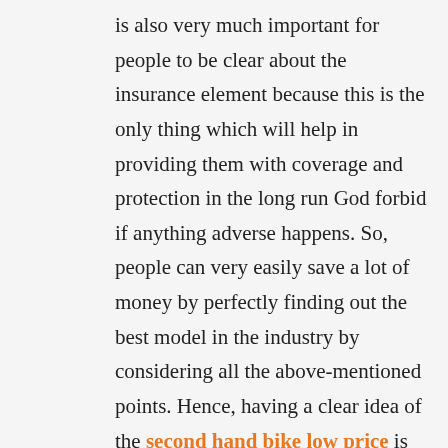is also very much important for people to be clear about the insurance element because this is the only thing which will help in providing them with coverage and protection in the long run God forbid if anything adverse happens. So, people can very easily save a lot of money by perfectly finding out the best model in the industry by considering all the above-mentioned points. Hence, having a clear idea of the second hand bike low price is very much important so that there is no chance of any kind of issue in the whole process.